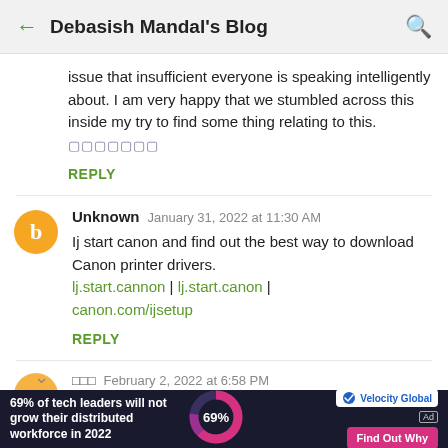← Debasish Mandal's Blog 🔍
issue that insufficient everyone is speaking intelligently about. I am very happy that we stumbled across this inside my try to find some thing relating to this. 🔲🔲🔲🔲🔲🔲🔲
REPLY
Unknown   January 31, 2022 at 11:30 AM
Ij start canon and find out the best way to download Canon printer drivers. lj.start.cannon | lj.start.canon | canon.com/ijsetup
REPLY
□□□   February 2, 2022 at 6:58 PM
That is a great big article about these new to...
[Figure (infographic): Advertisement bar: '69% of tech leaders will not grow their distributed workforce in 2022' with a donut chart showing 69%, Velocity Global logo, and 'Find Out Why' button]